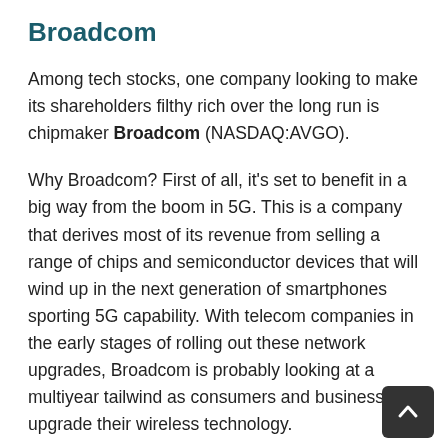Broadcom
Among tech stocks, one company looking to make its shareholders filthy rich over the long run is chipmaker Broadcom (NASDAQ:AVGO).
Why Broadcom? First of all, it's set to benefit in a big way from the boom in 5G. This is a company that derives most of its revenue from selling a range of chips and semiconductor devices that will wind up in the next generation of smartphones sporting 5G capability. With telecom companies in the early stages of rolling out these network upgrades, Broadcom is probably looking at a multiyear tailwind as consumers and businesses upgrade their wireless technology.
Broadcom is also set to benefit from growing enterprise cloud demand. The COVID-19 pandemic has accelerated an already existing work-from-home (WFH) trend, which is providing a shot in the arm to any businesses that make working from home easier. For Broadcom, more